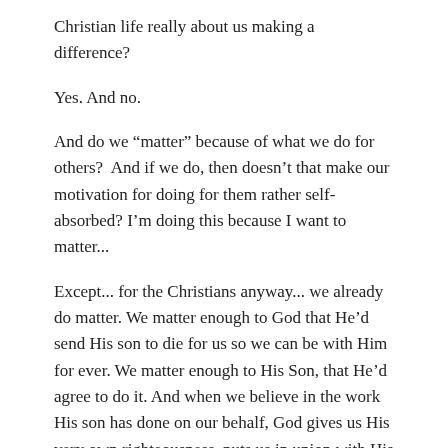Christian life really about us making a difference?
Yes. And no.
And do we “matter” because of what we do for others?  And if we do, then doesn’t that make our motivation for doing for them rather self-absorbed? I’m doing this because I want to matter...
Except... for the Christians anyway... we already do matter. We matter enough to God that He’d send His son to die for us so we can be with Him for ever. We matter enough to His Son, that He’d agree to do it. And when we believe in the work His son has done on our behalf, God gives us His very own righteousness, puts us in union with His son, seated at His right hand and comes to indwell our very bodies. We, in the church age, are royalty. The very Trinity indwells each of us.